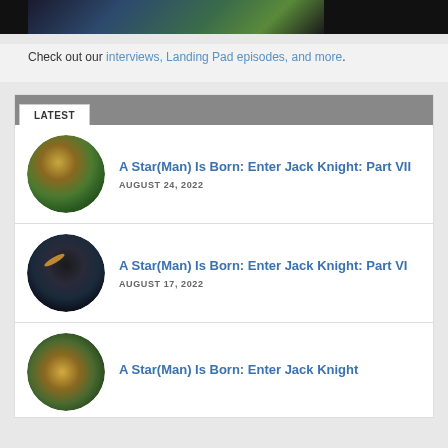[Figure (photo): Dark banner image, partially visible at top of page]
Check out our interviews, Landing Pad episodes, and more.
LATEST
[Figure (photo): Circular thumbnail of comic book character - Part VII]
A Star(Man) Is Born: Enter Jack Knight: Part VII
AUGUST 24, 2022
[Figure (photo): Circular thumbnail of dark space scene - Part VI]
A Star(Man) Is Born: Enter Jack Knight: Part VI
AUGUST 17, 2022
[Figure (photo): Circular thumbnail of comic book character - Part V (partially visible)]
A Star(Man) Is Born: Enter Jack Knight